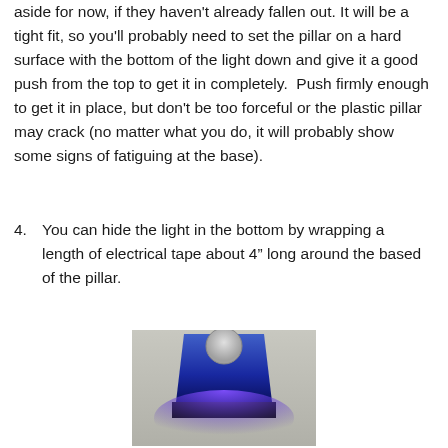aside for now, if they haven't already fallen out. It will be a tight fit, so you'll probably need to set the pillar on a hard surface with the bottom of the light down and give it a good push from the top to get it in completely. Push firmly enough to get it in place, but don't be too forceful or the plastic pillar may crack (no matter what you do, it will probably show some signs of fatiguing at the base).
4. You can hide the light in the bottom by wrapping a length of electrical tape about 4" long around the based of the pillar.
[Figure (photo): A blue translucent plastic pillar/candle holder with a coin cell battery on top and a blue LED light glowing at the base, placed on a light surface.]